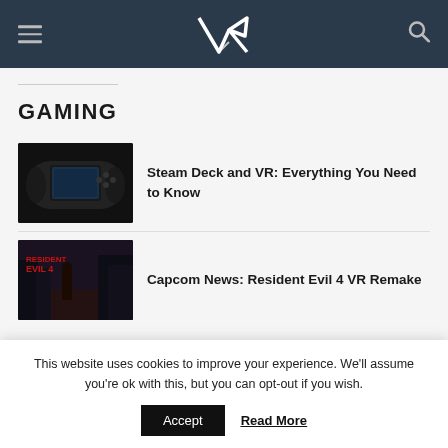VR website header with hamburger menu, VR logo, and search icon
GAMING
Steam Deck and VR: Everything You Need to Know
[Figure (photo): Steam Deck handheld gaming device against dark background]
Capcom News: Resident Evil 4 VR Remake
[Figure (photo): Resident Evil 4 game cover art showing character in dark city]
This website uses cookies to improve your experience. We'll assume you're ok with this, but you can opt-out if you wish.
Accept  Read More